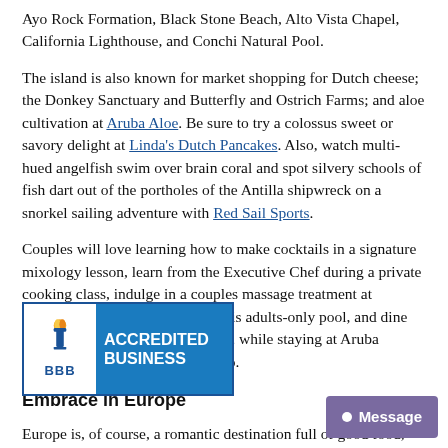Ayo Rock Formation, Black Stone Beach, Alto Vista Chapel, California Lighthouse, and Conchi Natural Pool.
The island is also known for market shopping for Dutch cheese; the Donkey Sanctuary and Butterfly and Ostrich Farms; and aloe cultivation at Aruba Aloe. Be sure to try a colossus sweet or savory delight at Linda's Dutch Pancakes. Also, watch multi-hued angelfish swim over brain coral and spot silvery schools of fish dart out of the portholes of the Antilla shipwreck on a snorkel sailing adventure with Red Sail Sports.
Couples will love learning how to make cocktails in a signature mixology lesson, learn from the Executive Chef during a private cooking class, indulge in a couples massage treatment at Mandara Spa, swim in the H2Oasis adults-only pool, and dine on Palm Beach at sunset at Atardi, while staying at Aruba Marriott Resort & Stellaris Casino.
Embrace in Europe
Europe is, of course, a romantic destination full of good food, music, art and cobblestone streets that are perfect for hand holding. After all, who ... is, Barcelona, Prague, Amsterdam, Zurich, or ... travel to Lucerne in Switzerland and go on a walking tour through the